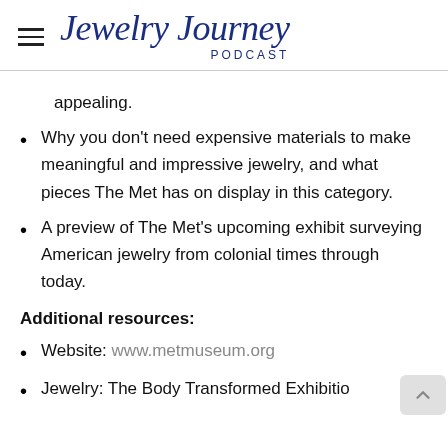Jewelry Journey PODCAST
appealing.
Why you don't need expensive materials to make meaningful and impressive jewelry, and what pieces The Met has on display in this category.
A preview of The Met's upcoming exhibit surveying American jewelry from colonial times through today.
Additional resources:
Website: www.metmuseum.org
Jewelry: The Body Transformed Exhibition